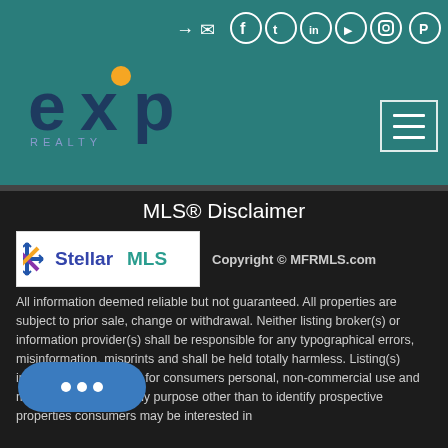[Figure (logo): eXp Realty logo — stylized 'exp' text in dark blue/teal with orange accent, on teal header background]
[Figure (other): Social media icons row: sign-in arrow, envelope, Facebook, Twitter, LinkedIn, YouTube, Instagram, Pinterest — white outlined circles on teal]
[Figure (other): Hamburger menu button — white bordered square with three horizontal lines]
MLS® Disclaimer
[Figure (logo): Stellar MLS logo — star/snowflake icon in blue/purple/orange with 'Stellar MLS' text]
Copyright © MFRMLS.com
All information deemed reliable but not guaranteed. All properties are subject to prior sale, change or withdrawal. Neither listing broker(s) or information provider(s) shall be responsible for any typographical errors, misinformation, misprints and shall be held totally harmless. Listing(s) information is provided for consumers personal, non-commercial use and may not be used for any purpose other than to identify prospective properties consumers may be interested in